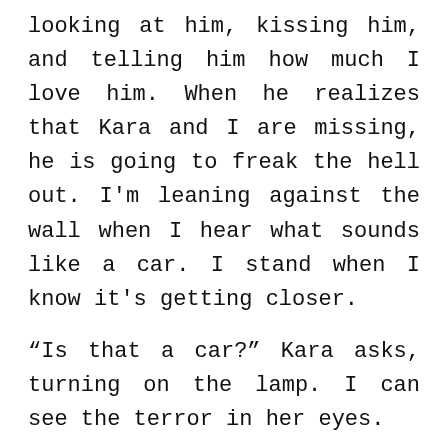looking at him, kissing him, and telling him how much I love him. When he realizes that Kara and I are missing, he is going to freak the hell out. I'm leaning against the wall when I hear what sounds like a car. I stand when I know it's getting closer.
“Is that a car?” Kara asks, turning on the lamp. I can see the terror in her eyes.
“Kara, I want you to go into the corner, tuck yourself into a ball, and turn off the lamp.”
“What are you going to do?”